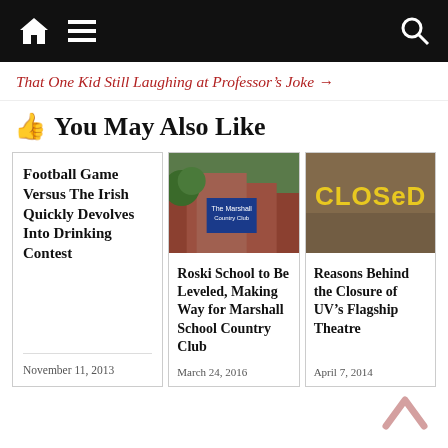Navigation bar with home, menu, and search icons
That One Kid Still Laughing at Professor's Joke →
👍 You May Also Like
Football Game Versus The Irish Quickly Devolves Into Drinking Contest
November 11, 2013
[Figure (photo): Exterior photo of Roski School / Marshall Country Club building with blue sign and trees]
Roski School to Be Leveled, Making Way for Marshall School Country Club
March 24, 2016
[Figure (photo): Window sign reading CLOSED in yellow letters on dark background]
Reasons Behind the Closure of UV's Flagship Theatre
April 7, 2014